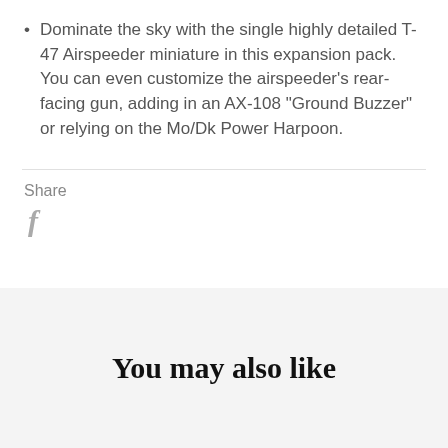Dominate the sky with the single highly detailed T-47 Airspeeder miniature in this expansion pack. You can even customize the airspeeder's rear-facing gun, adding in an AX-108 "Ground Buzzer" or relying on the Mo/Dk Power Harpoon.
Share
[Figure (logo): Facebook share icon (stylized lowercase f in gray)]
You may also like